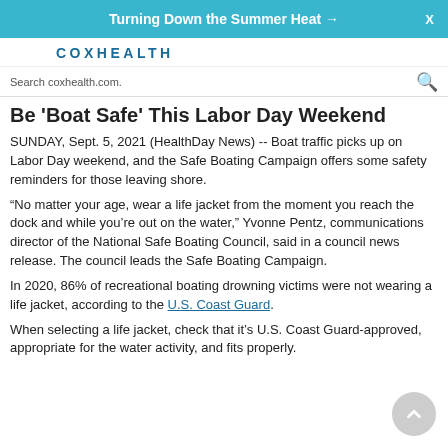Turning Down the Summer Heat →
[Figure (logo): CoxHealth logo text in blue uppercase lettering]
Search coxhealth.com.
Be 'Boat Safe' This Labor Day Weekend
SUNDAY, Sept. 5, 2021 (HealthDay News) -- Boat traffic picks up on Labor Day weekend, and the Safe Boating Campaign offers some safety reminders for those leaving shore.
“No matter your age, wear a life jacket from the moment you reach the dock and while you’re out on the water,” Yvonne Pentz, communications director of the National Safe Boating Council, said in a council news release. The council leads the Safe Boating Campaign.
In 2020, 86% of recreational boating drowning victims were not wearing a life jacket, according to the U.S. Coast Guard.
When selecting a life jacket, check that it’s U.S. Coast Guard-approved, appropriate for the water activity, and fits properly.